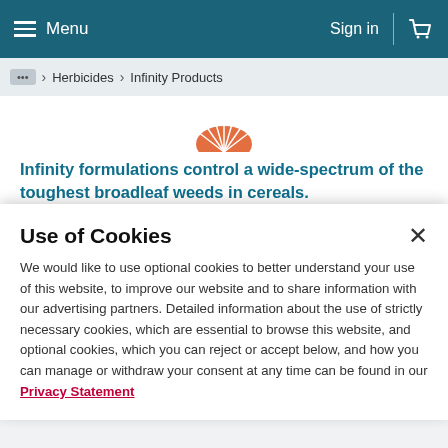Menu  Sign in
... > Herbicides > Infinity Products
[Figure (illustration): Orange fan/wheat icon at the top center of the page]
Infinity formulations control a wide-spectrum of the toughest broadleaf weeds in cereals.
[Figure (illustration): Two partially visible orange circular badge icons showing numbers]
Use of Cookies
We would like to use optional cookies to better understand your use of this website, to improve our website and to share information with our advertising partners. Detailed information about the use of strictly necessary cookies, which are essential to browse this website, and optional cookies, which you can reject or accept below, and how you can manage or withdraw your consent at any time can be found in our Privacy Statement